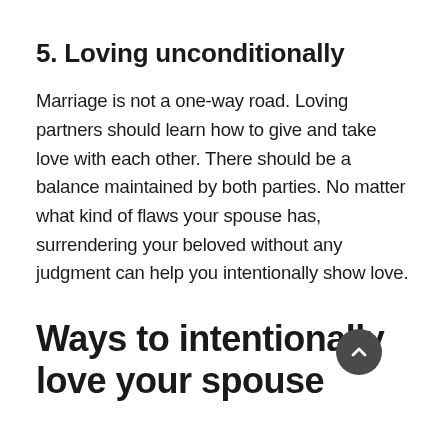5. Loving unconditionally
Marriage is not a one-way road. Loving partners should learn how to give and take love with each other. There should be a balance maintained by both parties. No matter what kind of flaws your spouse has, surrendering your beloved without any judgment can help you intentionally show love.
Ways to intentionally love your spouse